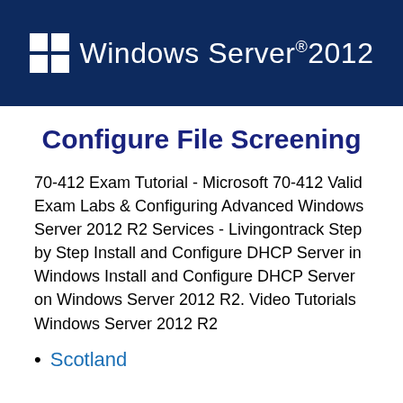[Figure (logo): Windows Server 2012 logo with Windows icon on dark navy blue banner]
Configure File Screening
70-412 Exam Tutorial - Microsoft 70-412 Valid Exam Labs & Configuring Advanced Windows Server 2012 R2 Services - Livingontrack Step by Step Install and Configure DHCP Server in Windows Install and Configure DHCP Server on Windows Server 2012 R2. Video Tutorials Windows Server 2012 R2
Scotland